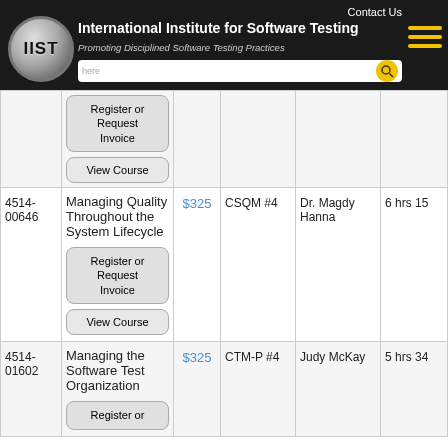International Institute for Software Testing — Promoting Disciplined Software Testing Practices
| ID | Course | Price | Cert | Author | Hours |
| --- | --- | --- | --- | --- | --- |
|  | Request Invoice / View Course |  |  |  |  |
| 4514-00646 | Managing Quality Throughout the System Lifecycle | $325 | CSQM #4 | Dr. Magdy Hanna | 6 hrs 15 |
| 4514-01602 | Managing the Software Test Organization | $325 | CTM-P #4 | Judy McKay | 5 hrs 34 |